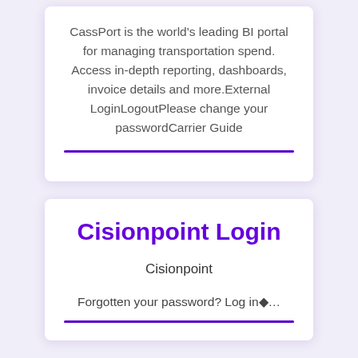CassPort is the world's leading BI portal for managing transportation spend. Access in-depth reporting, dashboards, invoice details and more.External LoginLogoutPlease change your passwordCarrier Guide
Cisionpoint Login
Cisionpoint
Forgotten your password? Log in◆…